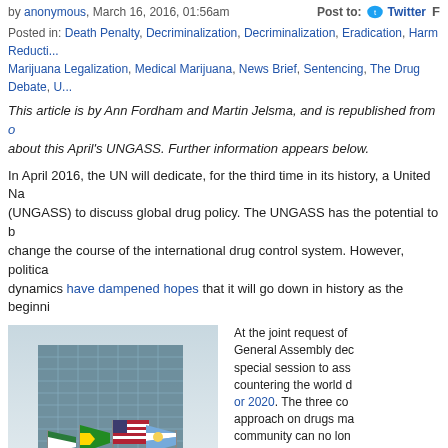by anonymous, March 16, 2016, 01:56am    Post to: Twitter F
Posted in: Death Penalty, Decriminalization, Decriminalization, Eradication, Harm Reduction, Marijuana Legalization, Medical Marijuana, News Brief, Sentencing, The Drug Debate, U...
This article is by Ann Fordham and Martin Jelsma, and is republished from o... about this April's UNGASS. Further information appears below.
In April 2016, the UN will dedicate, for the third time in its history, a United Na... (UNGASS) to discuss global drug policy. The UNGASS has the potential to b... change the course of the international drug control system. However, politica... dynamics have dampened hopes that it will go down in history as the beginni...
[Figure (photo): Photo of UN headquarters building with national flags in foreground]
At the joint request of ... General Assembly dec... special session to ass... countering the world d... or 2020. The three co... approach on drugs ma... community can no lon... exercise leadership to... available options, incl... order to establish a ne... resources to organize... had to be convened, "... to increase the effectiv... with which the global d...